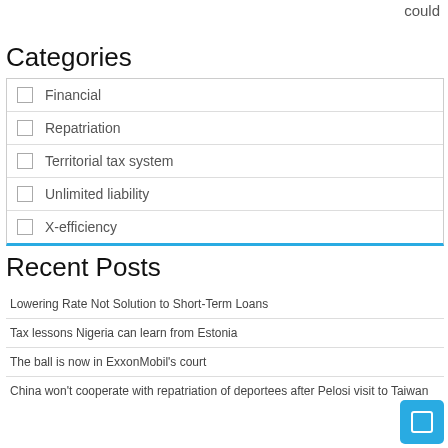could
Categories
Financial
Repatriation
Territorial tax system
Unlimited liability
X-efficiency
Recent Posts
Lowering Rate Not Solution to Short-Term Loans
Tax lessons Nigeria can learn from Estonia
The ball is now in ExxonMobil's court
China won't cooperate with repatriation of deportees after Pelosi visit to Taiwan